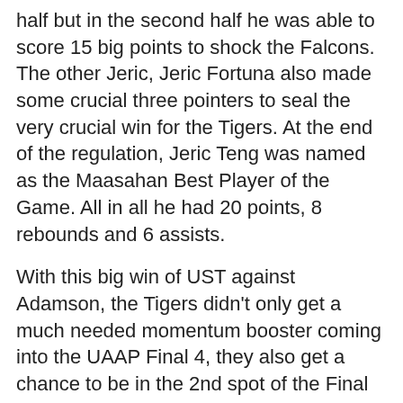half but in the second half he was able to score 15 big points to shock the Falcons. The other Jeric, Jeric Fortuna also made some crucial three pointers to seal the very crucial win for the Tigers. At the end of the regulation, Jeric Teng was named as the Maasahan Best Player of the Game. All in all he had 20 points, 8 rebounds and 6 assists.
With this big win of UST against Adamson, the Tigers didn't only get a much needed momentum booster coming into the UAAP Final 4, they also get a chance to be in the 2nd spot of the Final 4. They just need to win their next 2 games (Sept. 8 UST vs. FEU and Sept. 11 UST vs. NU) and hope that Adamson loses their own next 2 games (vs. Ateneo and vs. another team). If Adamson loses their next 2 games, UST will be in the second spot and they will enjoy a twice to beat advantage. But that means Ateneo was able to sweep the
UST will face FEU on Thursday. FEU has an 8-4 win-loss record while UST has a 7-5 win-loss record. Now, that game is important for both teams because if UST wins, we'll have a 2-way tie in the 3rd spot and there may be a playoff for the right to get the 3rd spot but if FEU wins...